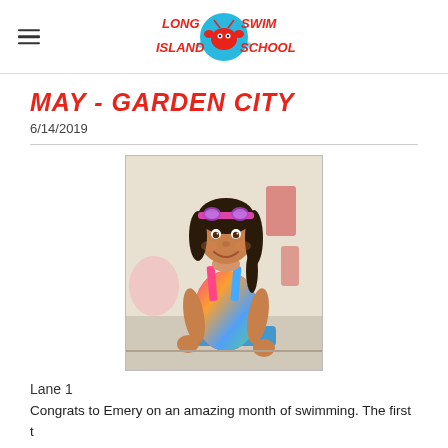Long Island Swim School
MAY  -  GARDEN CITY
6/14/2019
[Figure (photo): Young girl in colorful swimsuit with purple goggles on her head, smiling at camera, seated near a pool area]
Lane 1
Congrats to Emery on an amazing month of swimming.  The first t...